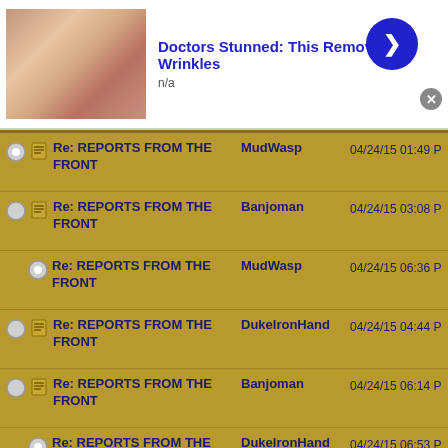[Figure (screenshot): Ad banner: Doctors Stunned: This Removes Wrinkles, n/a, with thumbnail image, blue arrow button, and close X button]
Re: REPORTS FROM THE FRONT | MudWasp | 04/24/15 01:49 PM
Re: REPORTS FROM THE FRONT | Banjoman | 04/24/15 03:08 PM
Re: REPORTS FROM THE FRONT | MudWasp | 04/24/15 06:36 PM
Re: REPORTS FROM THE FRONT | DukeIronHand | 04/24/15 04:44 PM
Re: REPORTS FROM THE FRONT | Banjoman | 04/24/15 06:14 PM
Re: REPORTS FROM THE FRONT | DukeIronHand | 04/24/15 06:53 PM
Re: REPORTS FROM | OldHat | (partially visible)
[Figure (screenshot): Ad banner: Doctors Stunned: This Removes Wrinkles, n/a, with thumbnail image, blue arrow button, and close X button (bottom)]